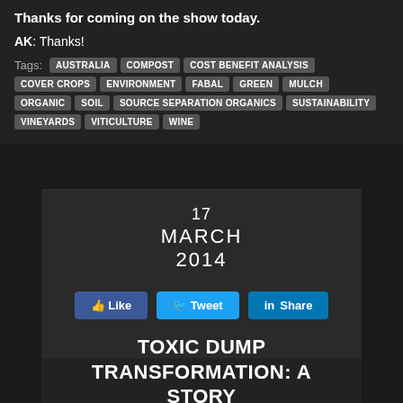Thanks for coming on the show today.
AK: Thanks!
Tags: AUSTRALIA COMPOST COST BENEFIT ANALYSIS COVER CROPS ENVIRONMENT FABAL GREEN MULCH ORGANIC SOIL SOURCE SEPARATION ORGANICS SUSTAINABILITY VINEYARDS VITICULTURE WINE
17 MARCH 2014
[Figure (other): Social sharing buttons: Like, Tweet, Share]
TOXIC DUMP TRANSFORMATION: A STORY FROM INDIA